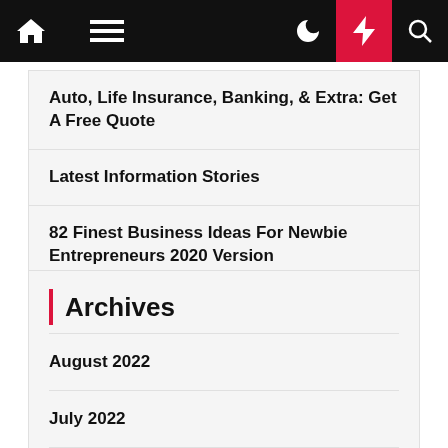Navigation bar with home, menu, moon, bolt, search icons
Auto, Life Insurance, Banking, & Extra: Get A Free Quote
Latest Information Stories
82 Finest Business Ideas For Newbie Entrepreneurs 2020 Version
Create Your Personal Web site
Archives
August 2022
July 2022
June 2022